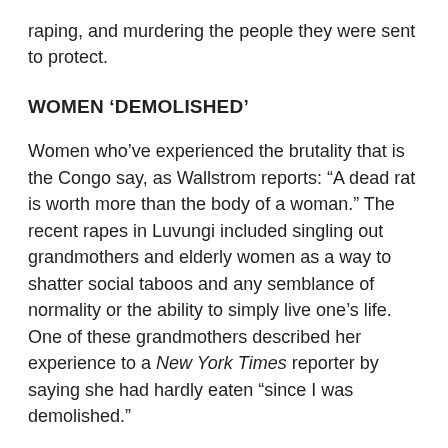raping, and murdering the people they were sent to protect.
WOMEN ‘DEMOLISHED’
Women who’ve experienced the brutality that is the Congo say, as Wallstrom reports: “A dead rat is worth more than the body of a woman.” The recent rapes in Luvungi included singling out grandmothers and elderly women as a way to shatter social taboos and any semblance of normality or the ability to simply live one’s life. One of these grandmothers described her experience to a New York Times reporter by saying she had hardly eaten “since I was demolished.”
While a BBC reporter was insensitive enough to speak of how rape in war is a usual occurrence, the war in Congo is not the FARDC against the many rebel groups, or the rebels against each other, it is all of them against